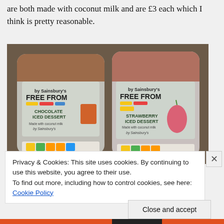are both made with coconut milk and are £3 each which I think is pretty reasonable.
[Figure (photo): Two tubs of Sainsbury's Free From ice dessert — one Chocolate Iced Dessert and one Strawberry Iced Dessert — side by side on a dark surface, both labelled with allergen colour-coding strips on the front.]
Privacy & Cookies: This site uses cookies. By continuing to use this website, you agree to their use.
To find out more, including how to control cookies, see here: Cookie Policy